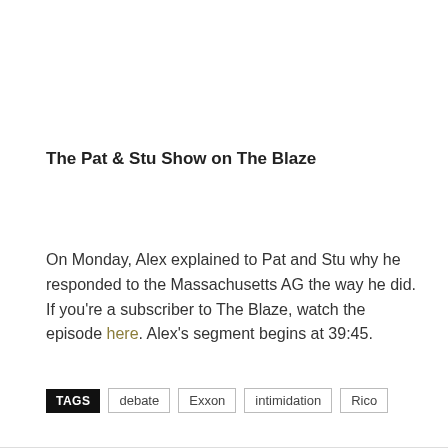The Pat & Stu Show on The Blaze
On Monday, Alex explained to Pat and Stu why he responded to the Massachusetts AG the way he did. If you're a subscriber to The Blaze, watch the episode here. Alex's segment begins at 39:45.
TAGS: debate, Exxon, intimidation, Rico